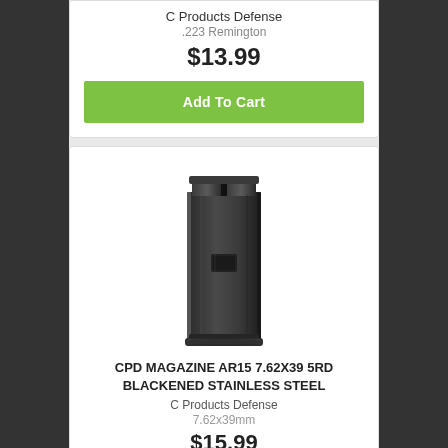C Products Defense
.223 Remington
$13.99
Add To Cart
[Figure (photo): Photo of CPD AR15 7.62x39 5rd blackened stainless steel magazine, standing upright, dark/black finish]
CPD MAGAZINE AR15 7.62X39 5RD BLACKENED STAINLESS STEEL
C Products Defense
7.62x39mm
$15.99